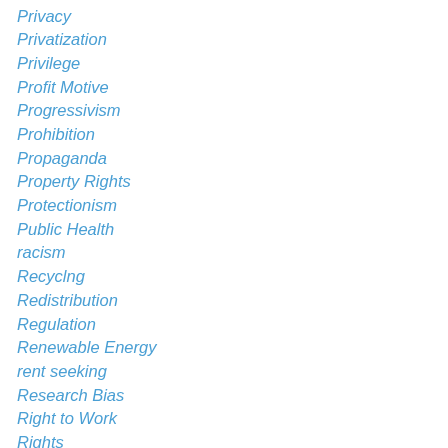Privacy
Privatization
Privilege
Profit Motive
Progressivism
Prohibition
Propaganda
Property Rights
Protectionism
Public Health
racism
Recyclng
Redistribution
Regulation
Renewable Energy
rent seeking
Research Bias
Right to Work
Rights
Risk